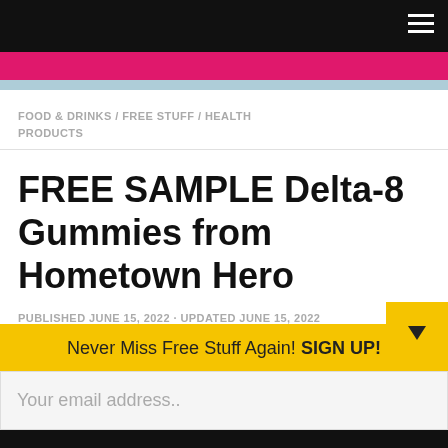Navigation bar with hamburger menu
FOOD & DRINKS / FREE STUFF / HEALTH PRODUCTS
FREE SAMPLE Delta-8 Gummies from Hometown Hero
PUBLISHED JUNE 15, 2022 · UPDATED JUNE 15, 2022
Never Miss Free Stuff Again! SIGN UP!
Your email address..
Subscribe